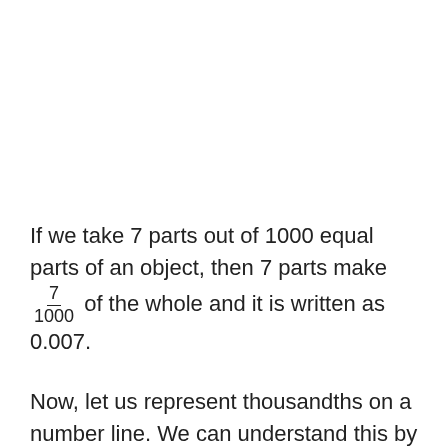If we take 7 parts out of 1000 equal parts of an object, then 7 parts make 7/1000 of the whole and it is written as 0.007.
Now, let us represent thousandths on a number line. We can understand this by an example.